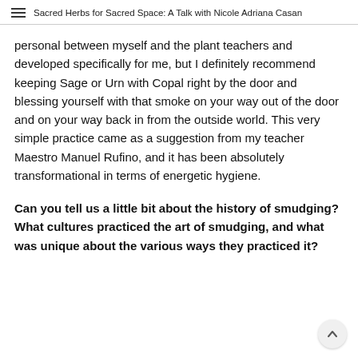Sacred Herbs for Sacred Space: A Talk with Nicole Adriana Casan
personal between myself and the plant teachers and developed specifically for me, but I definitely recommend keeping Sage or Urn with Copal right by the door and blessing yourself with that smoke on your way out of the door and on your way back in from the outside world. This very simple practice came as a suggestion from my teacher Maestro Manuel Rufino, and it has been absolutely transformational in terms of energetic hygiene.
Can you tell us a little bit about the history of smudging? What cultures practiced the art of smudging, and what was unique about the various ways they practiced it?